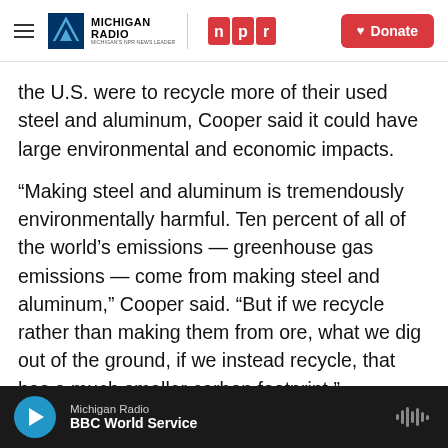Michigan Radio | NPR | Donate
the U.S. were to recycle more of their used steel and aluminum, Cooper said it could have large environmental and economic impacts.
“Making steel and aluminum is tremendously environmentally harmful. Ten percent of all of the world’s emissions — greenhouse gas emissions — come from making steel and aluminum,” Cooper said. “But if we recycle rather than making them from ore, what we dig out of the ground, if we instead recycle, that has a much smaller carbon footprint.”
Michigan Radio | BBC World Service